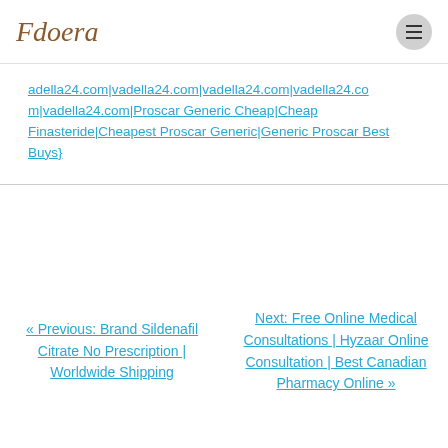Fdoera [logo] | menu button
adella24.com|vadella24.com|vadella24.com|vadella24.com|vadella24.com|vadella24.com|Proscar Generic Cheap|Cheap Finasteride|Cheapest Proscar Generic|Generic Proscar Best Buys}
« Previous: Brand Sildenafil Citrate No Prescription | Worldwide Shipping
Next: Free Online Medical Consultations | Hyzaar Online Consultation | Best Canadian Pharmacy Online »
Search